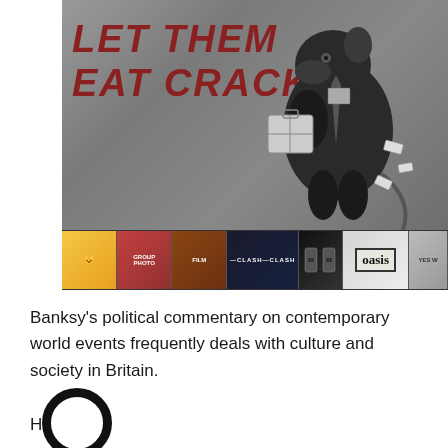[Figure (photo): Banksy street art mural on a grey wall showing a rat dressed in business attire holding a briefcase, with the text 'LET THEM EAT CRACK' written in red graffiti letters. Below the mural is a strip of colorful film/album covers including an Oasis album.]
Banksy's political commentary on contemporary world events frequently deals with culture and society in Britain.
He focuses heavily on current social issues and social commentary.